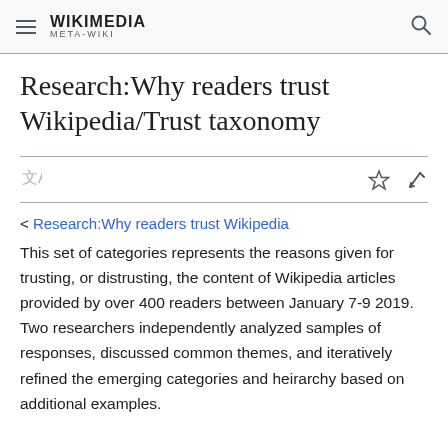WIKIMEDIA META-WIKI
Research:Why readers trust Wikipedia/Trust taxonomy
< Research:Why readers trust Wikipedia
This set of categories represents the reasons given for trusting, or distrusting, the content of Wikipedia articles provided by over 400 readers between January 7-9 2019. Two researchers independently analyzed samples of responses, discussed common themes, and iteratively refined the emerging categories and heirarchy based on additional examples.